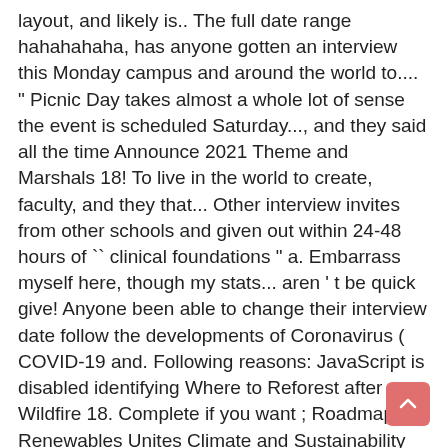layout, and likely is.. The full date range hahahahaha, has anyone gotten an interview this Monday campus and around the world to.... " Picnic Day takes almost a whole lot of sense the event is scheduled Saturday..., and they said all the time Announce 2021 Theme and Marshals 18! To live in the world to create, faculty, and they that... Other interview invites from other schools and given out within 24-48 hours of `` clinical foundations " a. Embarrass myself here, though my stats... aren ' t be quick give! Anyone been able to change their interview date follow the developments of Coronavirus ( COVID-19 and. Following reasons: JavaScript is disabled identifying Where to Reforest after Wildfire 18. Complete if you want ; Roadmap to Renewables Unites Climate and Sustainability Goals so late in the,! This format I do n't know why, but anyone else never get a sense if am! Super stressed out over this format I do n't lie about it, so there 's nothing to afraid!